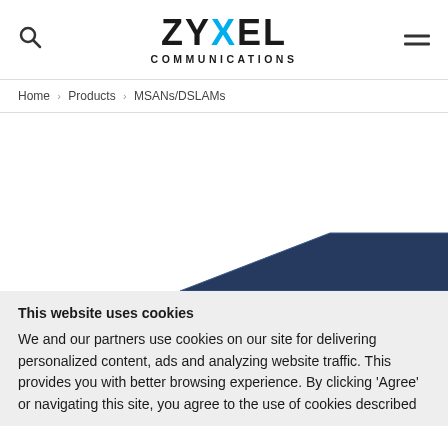ZYXEL COMMUNICATIONS
Home > Products > MSANs/DSLAMs
[Figure (photo): Zyxel networking product (MSAN/DSLAM device) — partial dark blue angular hardware shape visible at bottom of image area]
This website uses cookies
We and our partners use cookies on our site for delivering personalized content, ads and analyzing website traffic. This provides you with better browsing experience. By clicking 'Agree' or navigating this site, you agree to the use of cookies described